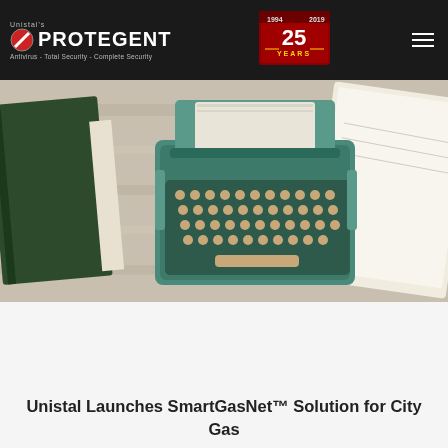Unistal's PROTEGENT Antivirus - Total Security - Complete Security
[Figure (photo): A vintage teal/green typewriter on a wooden surface, flanked by a dark green book on the left and a white notepad on the right, viewed from above.]
Unistal Launches SmartGasNet™ Solution for City Gas